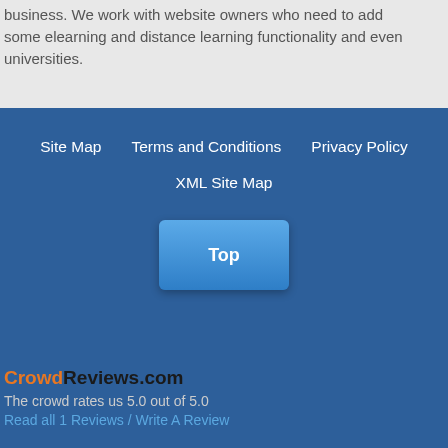business. We work with website owners who need to add some elearning and distance learning functionality and even universities.
Site Map | Terms and Conditions | Privacy Policy | XML Site Map
[Figure (other): Top button - a blue rounded button with text 'Top']
CrowdReviews.com
The crowd rates us 5.0 out of 5.0
Read all 1 Reviews / Write A Review